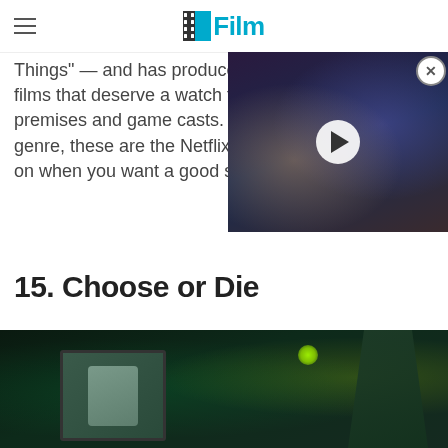/Film
Things" — and has produced films that deserve a watch for their premises and game casts. If you love the genre, these are the Netflix originals to put on when you want a good scare.
[Figure (screenshot): Video overlay showing a movie still with a play button, partially obscuring the text]
15. Choose or Die
[Figure (photo): Dark green-tinted scene showing a person looking at a TV monitor displaying a face, with another figure visible on the right side]